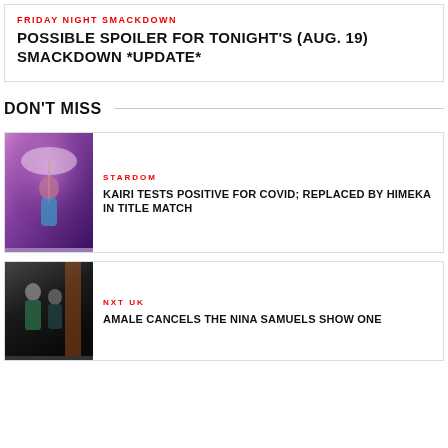FRIDAY NIGHT SMACKDOWN
POSSIBLE SPOILER FOR TONIGHT'S (AUG. 19) SMACKDOWN *UPDATE*
DON'T MISS
[Figure (photo): Kairi Sane posing with a parasol under purple stage lighting]
STARDOM
KAIRI TESTS POSITIVE FOR COVID; REPLACED BY HIMEKA IN TITLE MATCH
[Figure (photo): Two female wrestlers in a ring under orange and black lighting]
NXT UK
AMALE CANCELS THE NINA SAMUELS SHOW ONE